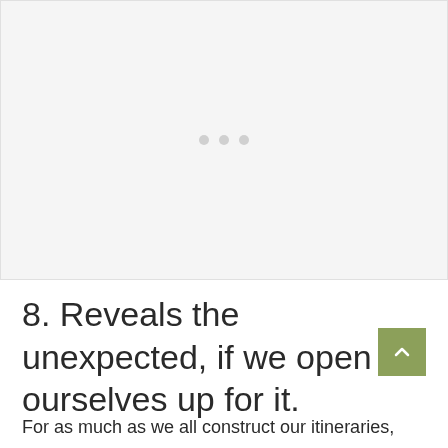[Figure (other): Large image placeholder area with light gray background and three small gray dots in the center, indicating a loading or empty image carousel.]
8. Reveals the unexpected, if we open ourselves up for it.
For as much as we all construct our itineraries,